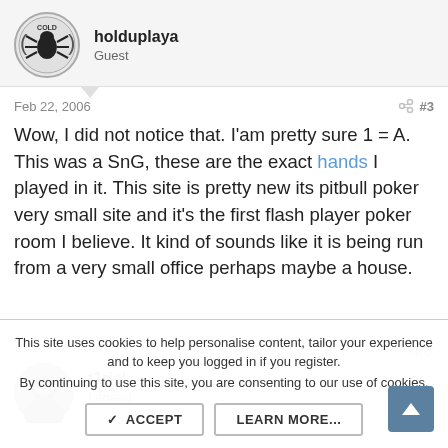[Figure (illustration): Avatar icon for user holduplaya - circular avatar with spider/crab graphic and COLD text]
holduplaya
Guest
Feb 22, 2006
#3
Wow, I did not notice that. I'am pretty sure 1 = A. This was a SnG, these are the exact hands I played in it. This site is pretty new its pitbull poker very small site and it's the first flash player poker room I believe. It kind of sounds like it is being run from a very small office perhaps maybe a house.
↩ Reply
[Figure (photo): Avatar photo of user t1riel - circular photo of a man]
t1riel
Legend
This site uses cookies to help personalise content, tailor your experience and to keep you logged in if you register.
By continuing to use this site, you are consenting to our use of cookies.
✓ ACCEPT
LEARN MORE...